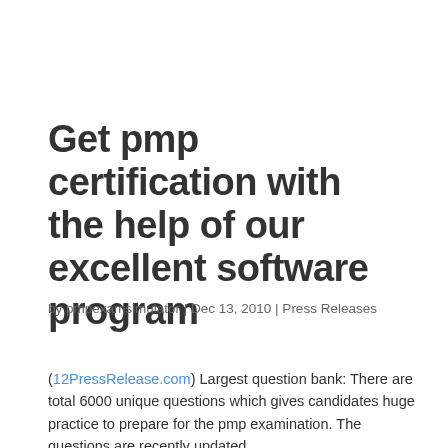Get pmp certification with the help of our excellent software program
by pmpexamsimulator | Dec 13, 2010 | Press Releases
(12PressRelease.com) Largest question bank: There are total 6000 unique questions which gives candidates huge practice to prepare for the pmp examination. The questions are recently updated